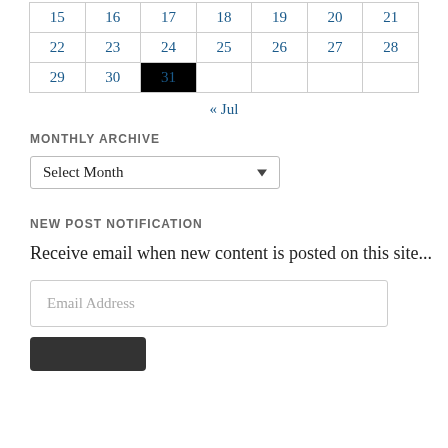| 15 | 16 | 17 | 18 | 19 | 20 | 21 |
| 22 | 23 | 24 | 25 | 26 | 27 | 28 |
| 29 | 30 | 31 |  |  |  |  |
« Jul
MONTHLY ARCHIVE
Select Month
NEW POST NOTIFICATION
Receive email when new content is posted on this site...
Email Address